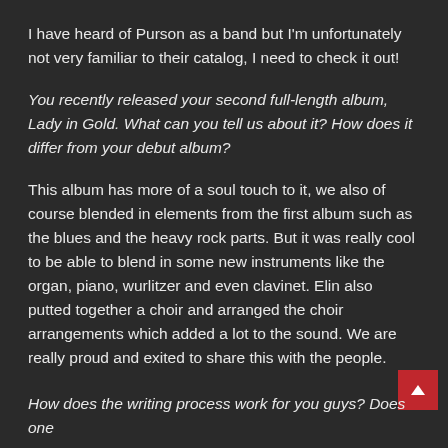I have heard of Purson as a band but I'm unfortunately not very familiar to their catalog, I need to check it out!
You recently released your second full-length album, Lady in Gold. What can you tell us about it? How does it differ from your debut album?
This album has more of a soul touch to it, we also of course blended in elements from the first album such as the blues and the heavy rock parts. But it was really cool to be able to blend in some new instruments like the organ, piano, wurlitzer and even clavinet. Elin also putted together a choir and arranged the choir arrangements which added a lot to the sound. We are really proud and exited to share this with the people.
How does the writing process work for you guys? Does one